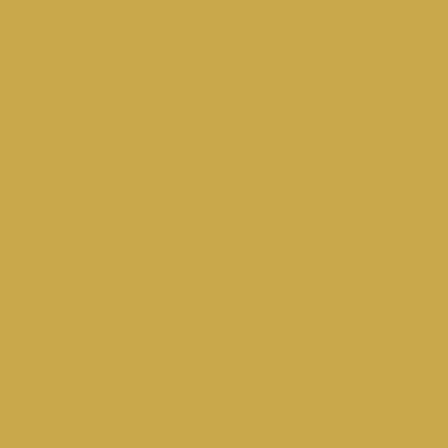191
192
193–196
201
202
203
204
205
206
207, 208
251–259
260
261
262
263
264
265
266
266a
266b
267
268
269
270